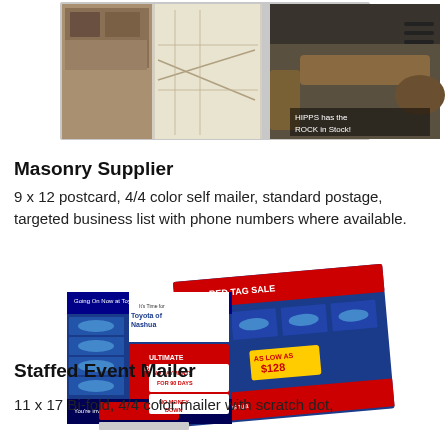[Figure (photo): Two photos: left shows a masonry supplier postcard with stone wall and map, right shows outdoor patio/furniture scene with text overlay]
Masonry Supplier
9 x 12 postcard, 4/4 color self mailer, standard postage, targeted business list with phone numbers where available.
[Figure (photo): Toyota of Nashua Staffed Event Mailer - bi-fold mailer showing RED TAG SALE promotion with car images, scratch dot, and financing offers]
Staffed Event Mailer
11 x 17 Bi-fold, 4/4 color mailer with scratch dot,